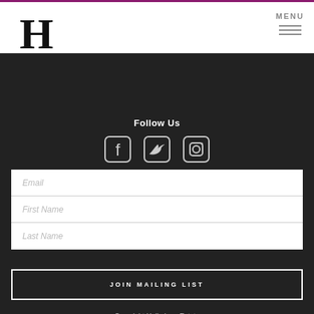[Figure (logo): Large bold serif H letter logo in black]
MENU
Follow Us
[Figure (illustration): Three social media icons: Facebook, Twitter, Instagram]
Email
First Name
Last Name
JOIN MAILING LIST
Copyright Hollydene Estate Wines © 2022